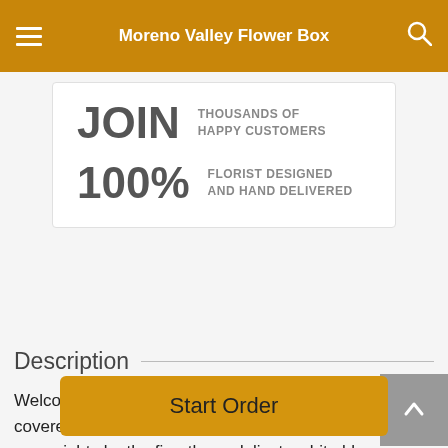Moreno Valley Flower Box
JOIN THOUSANDS OF HAPPY CUSTOMERS
100% FLORIST DESIGNED AND HAND DELIVERED
Description
Welcome winter with a festival of flurries! From snow-covered trees and icy vistas to family gatherings and cozy nights by the fire, these delicate white blooms are a celebration of all that's special about the season.
Start Order